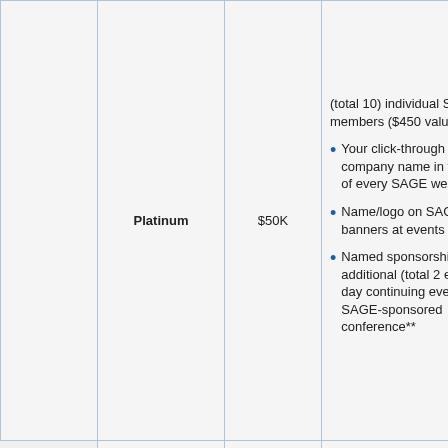|  | Level | Price | Benefits |
| --- | --- | --- | --- |
|  | Platinum | $50K | (total 10) individual SAGE members ($450 value)
• Your click-through logo or company name in the footer of every SAGE web page**
• Name/logo on SAGE banners at events
• Named sponsorship of an additional (total 2) event/full-day continuing event at a SAGE-sponsored conference** |